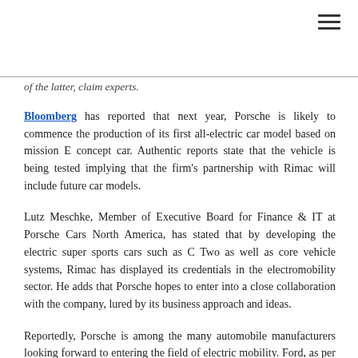of the latter, claim experts.
Bloomberg has reported that next year, Porsche is likely to commence the production of its first all-electric car model based on mission E concept car. Authentic reports state that the vehicle is being tested implying that the firm's partnership with Rimac will include future car models.
Lutz Meschke, Member of Executive Board for Finance & IT at Porsche Cars North America, has stated that by developing the electric super sports cars such as C Two as well as core vehicle systems, Rimac has displayed its credentials in the electromobility sector. He adds that Porsche hopes to enter into a close collaboration with the company, lured by its business approach and ideas.
Reportedly, Porsche is among the many automobile manufacturers looking forward to entering the field of electric mobility. Ford, as per reports, is one of these automakers, having recently declared that it will increase funding in electrification to nearly USD 11 billion by 2022.